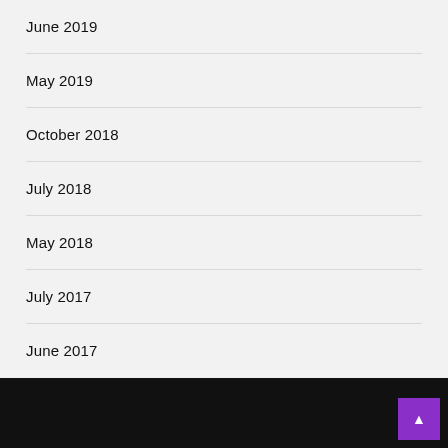June 2019
May 2019
October 2018
July 2018
May 2018
July 2017
June 2017